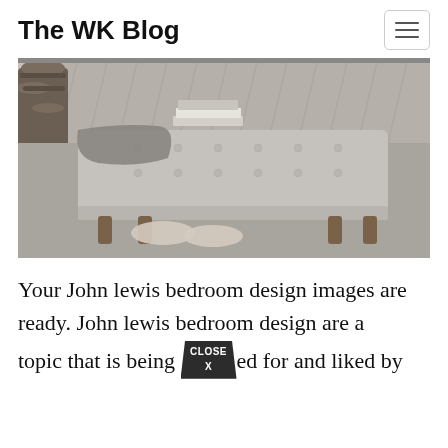The WK Blog
[Figure (photo): A tufted grey upholstered storage bench at the foot of a bed, with a grey throw blanket and stacked books on top, slippers on the floor in front, logs visible in the background, on a grey carpet.]
Your John lewis bedroom design images are ready. John lewis bedroom design are a topic that is being searched for and liked by